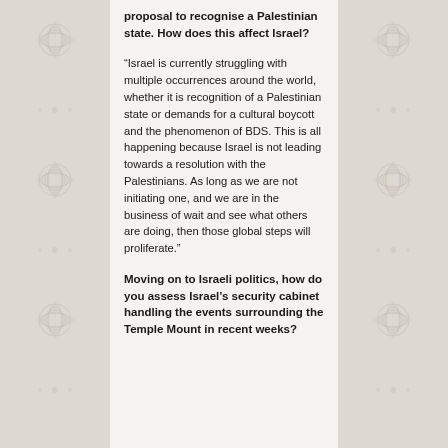proposal to recognise a Palestinian state. How does this affect Israel?
“Israel is currently struggling with multiple occurrences around the world, whether it is recognition of a Palestinian state or demands for a cultural boycott and the phenomenon of BDS. This is all happening because Israel is not leading towards a resolution with the Palestinians. As long as we are not initiating one, and we are in the business of wait and see what others are doing, then those global steps will proliferate.”
Moving on to Israeli politics, how do you assess Israel’s security cabinet handling the events surrounding the Temple Mount in recent weeks?